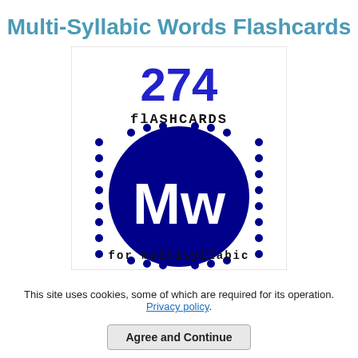Multi-Syllabic Words Flashcards
[Figure (illustration): A flashcard product cover image showing '274 flashcards' in large blue and black text, a dark blue circle with white 'Mw' logo surrounded by dotted border, and text 'for multisyllabic' below.]
This site uses cookies, some of which are required for its operation. Privacy policy.
Agree and Continue